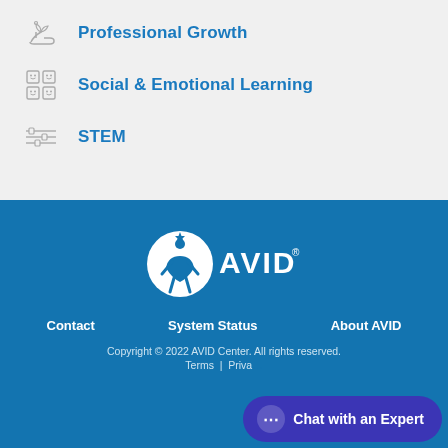Professional Growth
Social & Emotional Learning
STEM
[Figure (logo): AVID logo in white on blue background — circle with stylized person figure and text AVID with registered trademark symbol]
Contact | System Status | About AVID | Copyright © 2022 AVID Center. All rights reserved. Terms | Privacy
[Figure (screenshot): Chat with an Expert button overlay in bottom right corner]